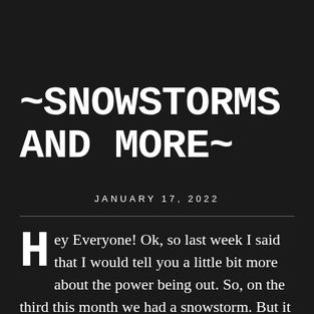~SNOWSTORMS AND MORE~
JANUARY 17, 2022
Hey Everyone! Ok, so last week I said that I would tell you a little bit more about the power being out. So, on the third this month we had a snowstorm. But it was the rain and sleet that turn into ice that caused the problems. Trees